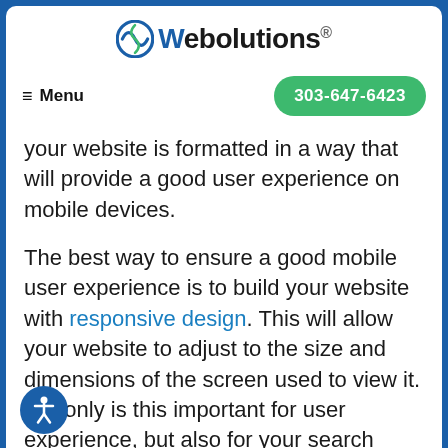Webolutions
≡ Menu   303-647-6423
your website is formatted in a way that will provide a good user experience on mobile devices.
The best way to ensure a good mobile user experience is to build your website with responsive design. This will allow your website to adjust to the size and dimensions of the screen used to view it. Not only is this important for user experience, but also for your search